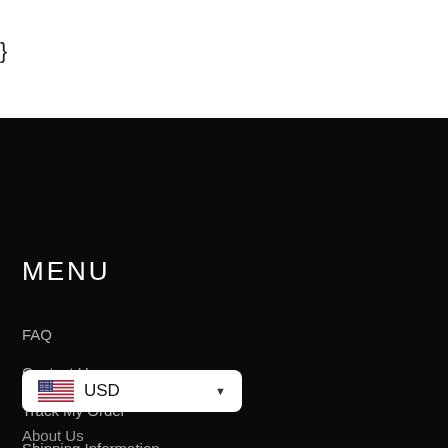}
MENU
FAQ
Contact Us
Track My Order
Shipping Information
Privacy Policy
Terms of Service
Refund Policy
USD
About Us